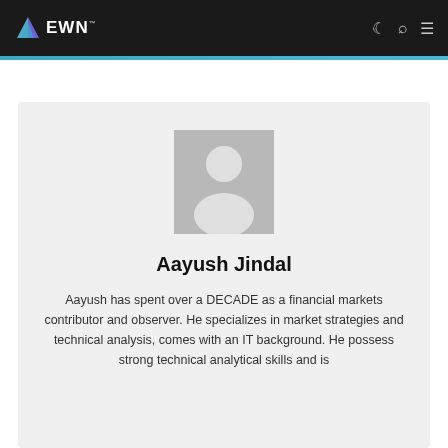EWN
[Figure (illustration): Generic user avatar placeholder — grey square with white silhouette of a person (head and shoulders)]
Aayush Jindal
Aayush has spent over a DECADE as a financial markets contributor and observer. He specializes in market strategies and technical analysis, comes with an IT background. He possess strong technical analytical skills and is